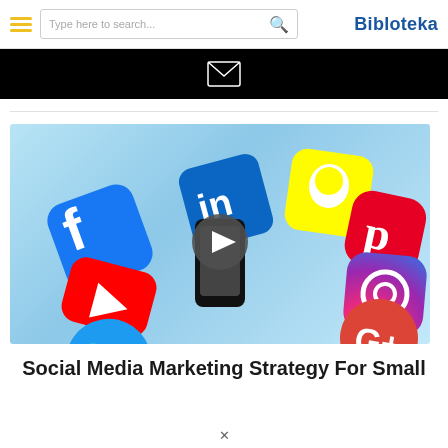Bibloteka
[Figure (screenshot): Black banner with envelope/email icon in the center]
[Figure (photo): Social media app icons (Facebook, LinkedIn, Snapchat, Pinterest, Instagram, YouTube, Twitter, Google+) scattered on a light blue background with a smartphone and a play button overlay]
Social Media Marketing Strategy For Small